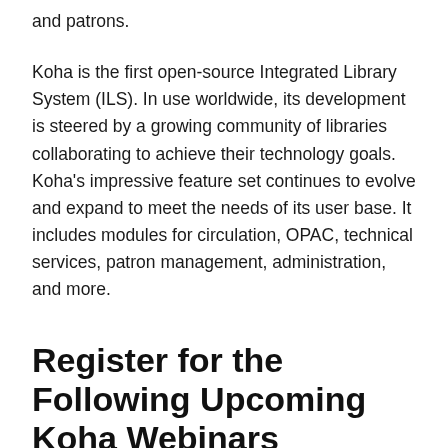and patrons.
Koha is the first open-source Integrated Library System (ILS). In use worldwide, its development is steered by a growing community of libraries collaborating to achieve their technology goals. Koha's impressive feature set continues to evolve and expand to meet the needs of its user base. It includes modules for circulation, OPAC, technical services, patron management, administration, and more.
Register for the Following Upcoming Koha Webinars
The Koha Staff Experience